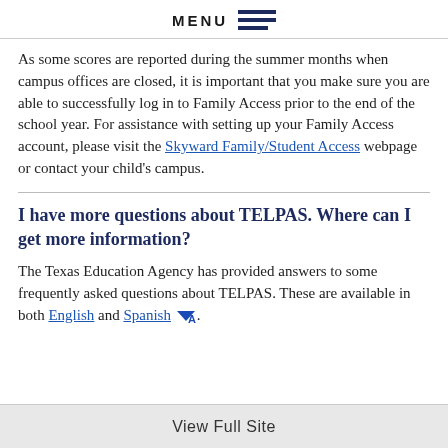MENU
As some scores are reported during the summer months when campus offices are closed, it is important that you make sure you are able to successfully log in to Family Access prior to the end of the school year. For assistance with setting up your Family Access account, please visit the Skyward Family/Student Access webpage or contact your child’s campus.
I have more questions about TELPAS. Where can I get more information?
The Texas Education Agency has provided answers to some frequently asked questions about TELPAS. These are available in both English and Spanish.
View Full Site